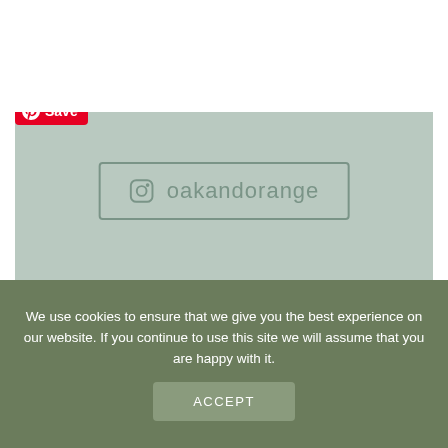[Figure (screenshot): Pinterest Save button overlay on top-left of Instagram post image]
[Figure (photo): Instagram post from @oakandorange showing a bedroom interior with white curtains and a woven lamp shade. An Instagram handle box with the text 'oakandorange' and Instagram icon is overlaid on a sage green background. A copy icon is visible in the top right.]
We use cookies to ensure that we give you the best experience on our website. If you continue to use this site we will assume that you are happy with it.
ACCEPT